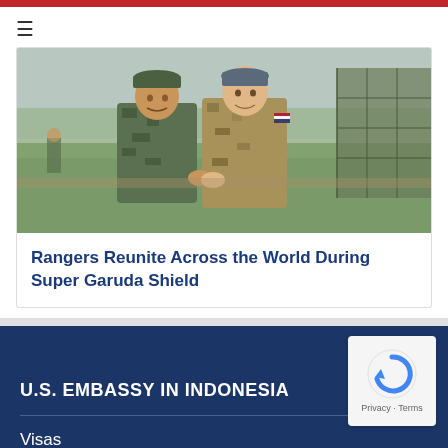[Figure (photo): Two soldiers in military uniforms smiling and posing together on a field with green netting and open landscape in background. One wears Indonesian camouflage, the other wears US Army combat uniform.]
Rangers Reunite Across the World During Super Garuda Shield
U.S. EMBASSY IN INDONESIA
Visas